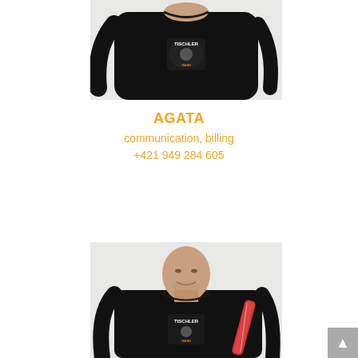[Figure (photo): Person wearing a black sweatshirt with a Tischler logo/print on the chest, photographed against a light background, cropped at mid-torso.]
AGATA
communication, billing
+421 949 284 605
[Figure (photo): Bald man wearing a black T-shirt with a Tischler logo/print, holding a rolled-up document/poster tube, photographed against a light background.]